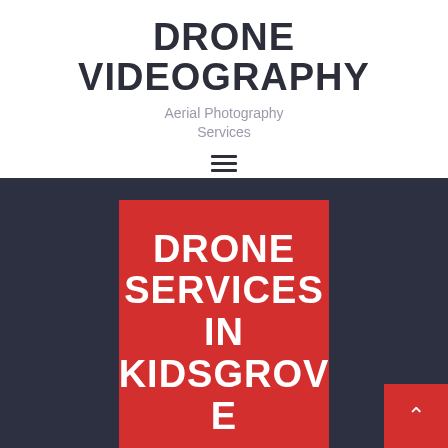DRONE VIDEOGRAPHY
Aerial Photography Services
[Figure (other): Hamburger menu icon (three horizontal lines)]
[Figure (other): Red banner on dark background reading: DRONE SERVICES IN KIDSGROVE]
[Figure (other): Red scroll-to-top button with upward arrow chevron in bottom-right corner]